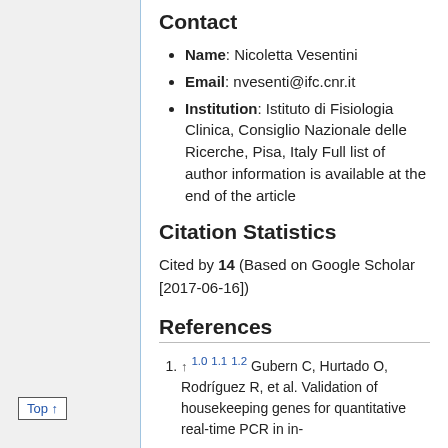Contact
Name: Nicoletta Vesentini
Email: nvesenti@ifc.cnr.it
Institution: Istituto di Fisiologia Clinica, Consiglio Nazionale delle Ricerche, Pisa, Italy Full list of author information is available at the end of the article
Citation Statistics
Cited by 14 (Based on Google Scholar [2017-06-16])
References
↑ 1.0 1.1 1.2 Gubern C, Hurtado O, Rodríguez R, et al. Validation of housekeeping genes for quantitative real-time PCR in in-
Top ↑